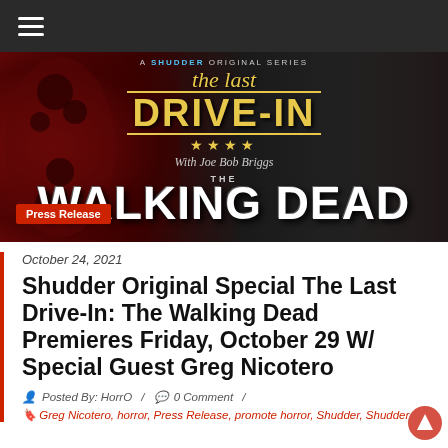Navigation bar with hamburger menu icon
[Figure (photo): Hero image for 'The Last Drive-In with Joe Bob Briggs' Shudder Original Series featuring The Walking Dead. Dark red and black background with the show's logo text and Walking Dead title. A 'Press Release' badge appears in the lower left.]
October 24, 2021
Shudder Original Special The Last Drive-In: The Walking Dead Premieres Friday, October 29 W/ Special Guest Greg Nicotero
Posted By: HorrO / 0 Comment /
Greg Nicotero, horror, Press Release, promote horror, Shudder, Shudder